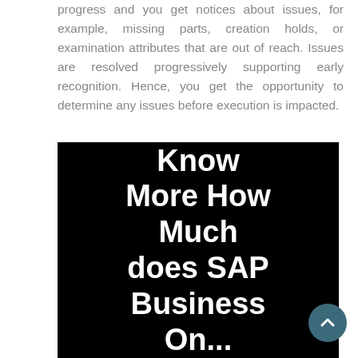progress and you get notices about issues, for example, missing parts, creation holds, or examination attributes that are out of reach. Issues are resolved progressively supporting early recognition. Hence, you get the opportunity to determine any issues before execution is impacted.
[Figure (other): Black background image with large white bold text reading 'Know More How Much does SAP Business One' (partially visible)]